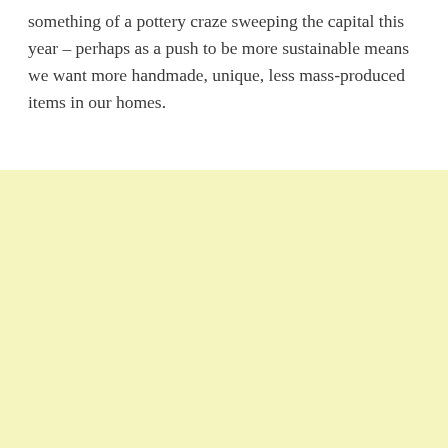something of a pottery craze sweeping the capital this year – perhaps as a push to be more sustainable means we want more handmade, unique, less mass-produced items in our homes.
[Figure (photo): Large light yellow / cream colored rectangular block filling the bottom portion of the page.]